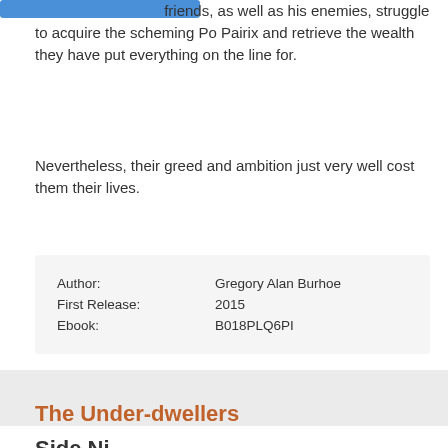[Figure (other): Blue rectangular button/bar at top left]
friends, as well as his enemies, struggle to acquire the scheming Po Pairix and retrieve the wealth they have put everything on the line for.
Nevertheless, their greed and ambition just very well cost them their lives.
| Author: | Gregory Alan Burhoe |
| First Release: | 2015 |
| Ebook: | B018PLQ6PI |
The Under-dwellers
Side Ni...